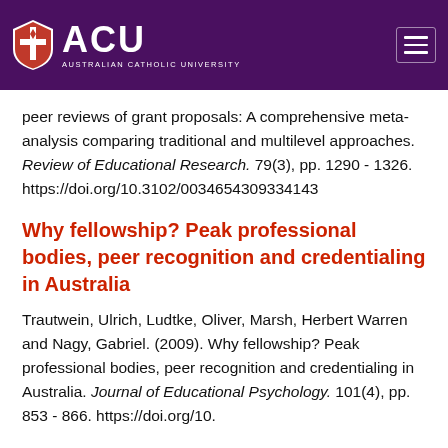[Figure (logo): Australian Catholic University (ACU) header with purple background, shield logo, ACU text, and hamburger menu icon]
peer reviews of grant proposals: A comprehensive meta-analysis comparing traditional and multilevel approaches. Review of Educational Research. 79(3), pp. 1290 - 1326. https://doi.org/10.3102/0034654309334143
Why fellowship? Peak professional bodies, peer recognition and credentialing in Australia
Trautwein, Ulrich, Ludtke, Oliver, Marsh, Herbert Warren and Nagy, Gabriel. (2009). Why fellowship? Peak professional bodies, peer recognition and credentialing in Australia. Journal of Educational Psychology. 101(4), pp. 853 - 866. https://doi.org/10.